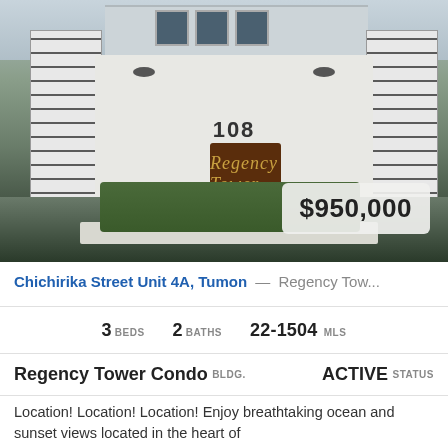[Figure (photo): Exterior entrance of Regency Tower building showing white brick pillars, address number 108, brown sign with 'Regency Tower' in gold script lettering, tropical landscaping, with a price badge showing $950,000]
Chichirika Street Unit 4A, Tumon — Regency Tow...
3 BEDS   2 BATHS   22-1504 MLS
Regency Tower Condo BLDG.   ACTIVE STATUS
Location! Location! Location! Enjoy breathtaking ocean and sunset views located in the heart of